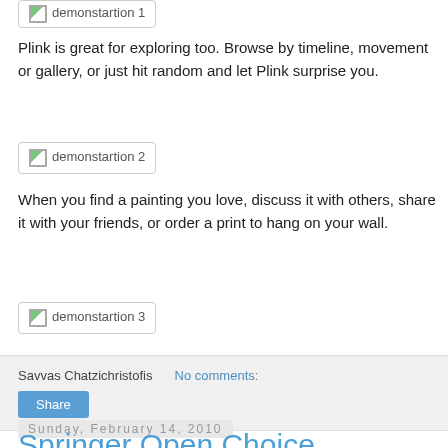[Figure (screenshot): Broken image placeholder labeled 'demonstartion 1']
Plink is great for exploring too. Browse by timeline, movement or gallery, or just hit random and let Plink surprise you.
[Figure (screenshot): Broken image placeholder labeled 'demonstartion 2']
When you find a painting you love, discuss it with others, share it with your friends, or order a print to hang on your wall.
[Figure (screenshot): Broken image placeholder labeled 'demonstartion 3']
Savvas Chatzichristofis   No comments:
Share
Sunday, February 14, 2010
Springer Open Choice